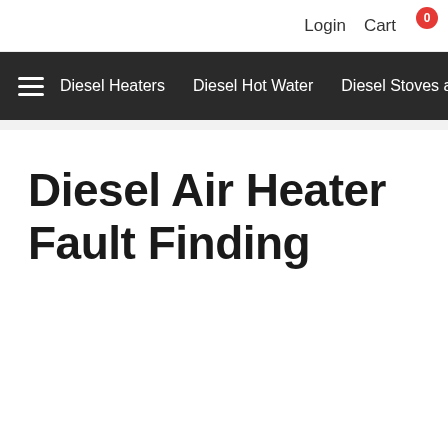Login  Cart
Diesel Heaters  Diesel Hot Water  Diesel Stoves a...
Diesel Air Heater Fault Finding